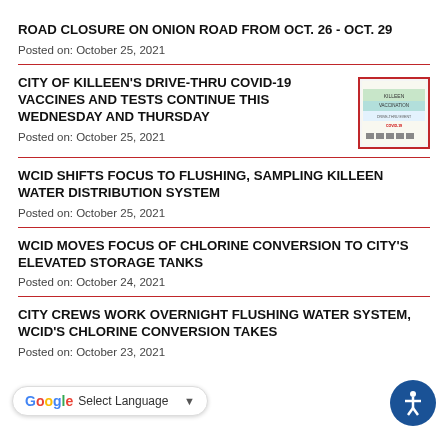ROAD CLOSURE ON ONION ROAD FROM OCT. 26 - OCT. 29
Posted on: October 25, 2021
CITY OF KILLEEN'S DRIVE-THRU COVID-19 VACCINES AND TESTS CONTINUE THIS WEDNESDAY AND THURSDAY
Posted on: October 25, 2021
[Figure (illustration): COVID-19 flyer with red border showing event details]
WCID SHIFTS FOCUS TO FLUSHING, SAMPLING KILLEEN WATER DISTRIBUTION SYSTEM
Posted on: October 25, 2021
WCID MOVES FOCUS OF CHLORINE CONVERSION TO CITY'S ELEVATED STORAGE TANKS
Posted on: October 24, 2021
CITY CREWS WORK OVERNIGHT FLUSHING WATER SYSTEM, WCID'S CHLORINE CONVERSION TAKES
Posted on: October 23, 2021